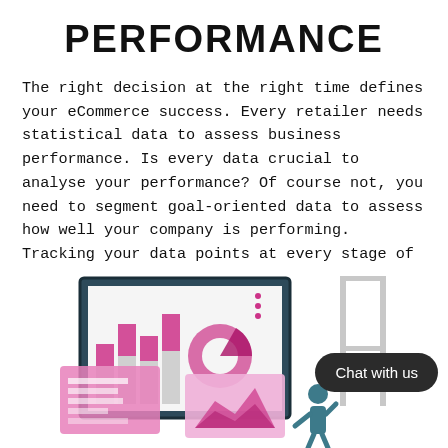PERFORMANCE
The right decision at the right time defines your eCommerce success. Every retailer needs statistical data to assess business performance. Is every data crucial to analyse your performance? Of course not, you need to segment goal-oriented data to assess how well your company is performing. Tracking your data points at every stage of your business expansion is crucial to harness informed decisions.
[Figure (illustration): An isometric illustration showing a person standing in front of large screens displaying charts, bar graphs, pie charts, and data visualizations in pink and grey tones. A dark rounded 'Chat with us' button appears in the lower right.]